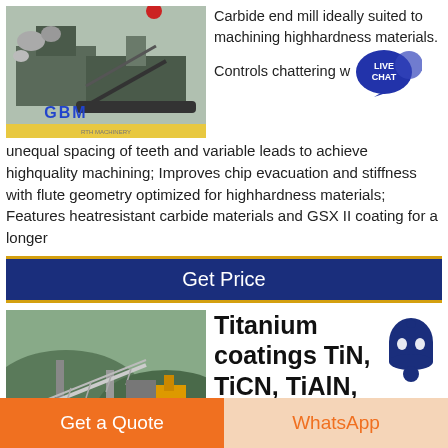[Figure (photo): Industrial machinery/crushing plant with GBM branding]
Carbide end mill ideally suited to machining highhardness materials. Controls chattering with unequal spacing of teeth and variable leads to achieve highquality machining; Improves chip evacuation and stiffness with flute geometry optimized for highhardness materials; Features heatresistant carbide materials and GSX II coating for a longer
Get Price
[Figure (photo): Industrial site/quarry crushing plant with GBM branding]
Titanium coatings TiN, TiCN, TiAlN,
Get a Quote
WhatsApp